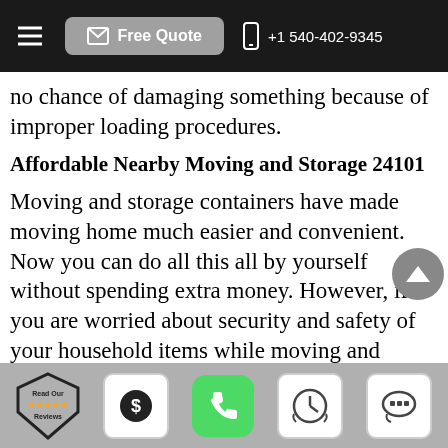Free Quote  +1 540-402-9345
no chance of damaging something because of improper loading procedures.
Affordable Nearby Moving and Storage 24101
Moving and storage containers have made moving home much easier and convenient. Now you can do all this all by yourself without spending extra money. However, if you are worried about security and safety of your household items while moving and storing them, there is no better option than using
Read Our Reviews | $ | Phone | Clock | Chat